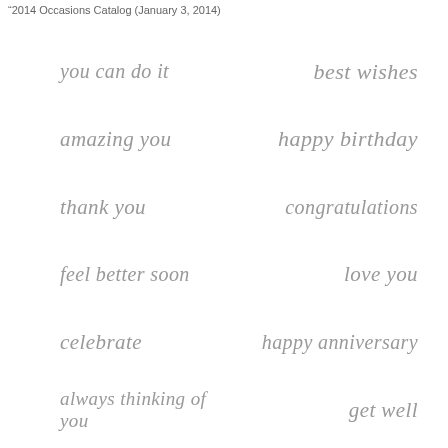"2014 Occasions Catalog (January 3, 2014)
you can do it
best wishes
amazing you
happy birthday
thank you
congratulations
feel better soon
love you
celebrate
happy anniversary
always thinking of you
get well